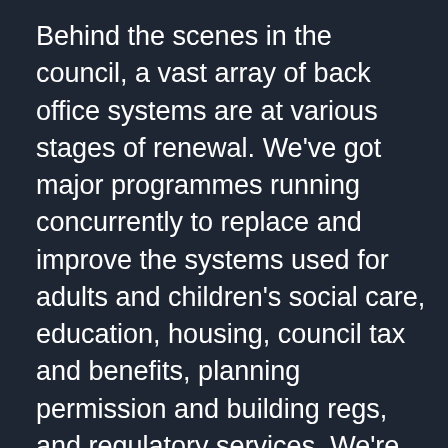Behind the scenes in the council, a vast array of back office systems are at various stages of renewal. We've got major programmes running concurrently to replace and improve the systems used for adults and children's social care, education, housing, council tax and benefits, planning permission and building regs, and regulatory services. We're also busy migrating off legacy hosted software into the cloud, tightening our cybersecurity, upgrading networks, phone systems and printers in in multiple buildings, and helping council staff use core productivity software to collaborate and work more efficiently.
In 2020, my ambition is to get a clear architectural vision for our many software